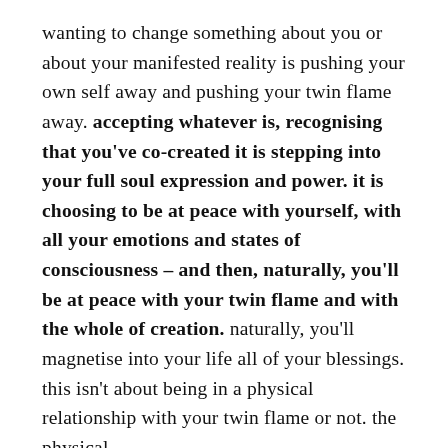wanting to change something about you or about your manifested reality is pushing your own self away and pushing your twin flame away. accepting whatever is, recognising that you've co-created it is stepping into your full soul expression and power. it is choosing to be at peace with yourself, with all your emotions and states of consciousness – and then, naturally, you'll be at peace with your twin flame and with the whole of creation. naturally, you'll magnetise into your life all of your blessings.
this isn't about being in a physical relationship with your twin flame or not. the physical